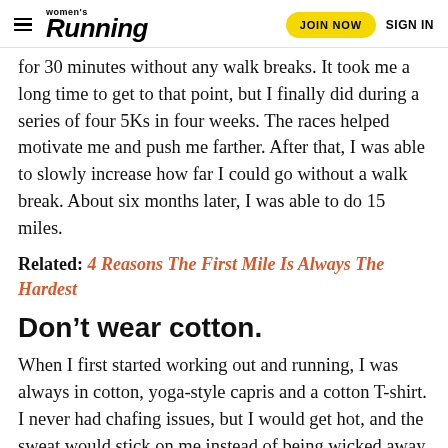women's Running | JOIN NOW | SIGN IN
for 30 minutes without any walk breaks. It took me a long time to get to that point, but I finally did during a series of four 5Ks in four weeks. The races helped motivate me and push me farther. After that, I was able to slowly increase how far I could go without a walk break. About six months later, I was able to do 15 miles.
Related: 4 Reasons The First Mile Is Always The Hardest
Don't wear cotton.
When I first started working out and running, I was always in cotton, yoga-style capris and a cotton T-shirt. I never had chafing issues, but I would get hot, and the sweat would stick on me instead of being wicked away as it does with technical shirts and pants. It didn't take long for the shirts to get gross